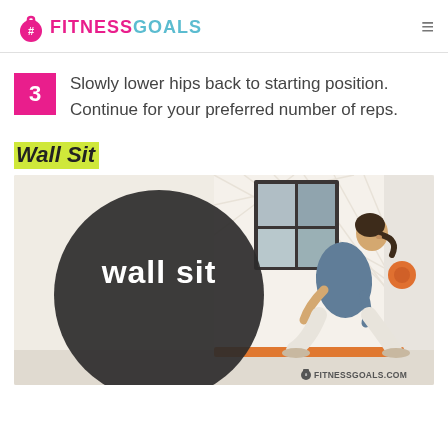#FITNESSGOALS
3  Slowly lower hips back to starting position. Continue for your preferred number of reps.
Wall Sit
[Figure (photo): Woman performing a wall sit exercise against a white wall, with a dark circular overlay on the left side of the image containing the text 'wall sit' in white. The image has a #fitnessgoals.com watermark at the bottom right.]